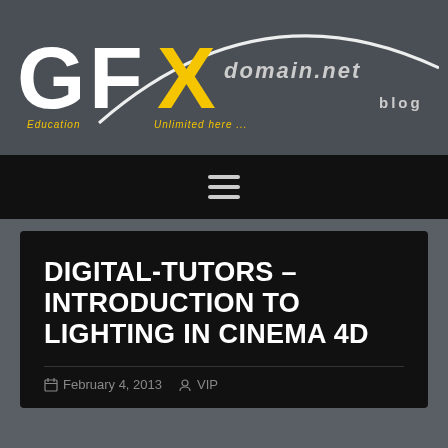[Figure (logo): GFXdomain.net Blog logo — large stylized GFX letters in white/yellow with a swoosh arc; tagline 'Education Unlimited Here ...' below; on dark grey background]
[Figure (other): Navigation bar with hamburger menu icon (three horizontal lines) on black background]
DIGITAL-TUTORS – INTRODUCTION TO LIGHTING IN CINEMA 4D
February 4, 2013  VIP